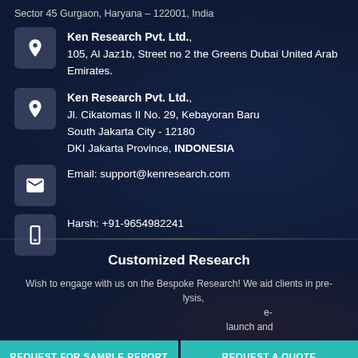Sector 45 Gurgaon, Haryana – 122001, India
Ken Research Pvt. Ltd., 105, Al Jaz1b, Street no 2 the Greens Dubai United Arab Emirates.
Ken Research Pvt. Ltd., Jl. Cikatomas II No. 29, Kebayoran Baru South Jakarta City - 12180 DKI Jakarta Province, INDONESIA
Email: support@kenresearch.com
Harsh: +91-9654982241
Customized Research
Wish to engage with us on the Bespoke Research! We aid clients in pre- ... analysis, ... e- ... launch and
REQUEST FOR SAMPLE REPORT
REQUEST A QUOTE
AN ANALYST
REQUEST CUSTOMIZATION